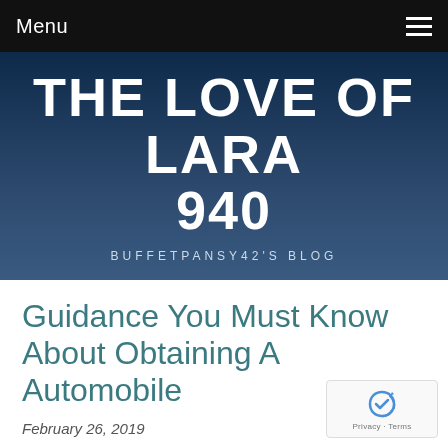Menu
THE LOVE OF LARA 940
BUFFETPANSY42'S BLOG
Guidance You Must Know About Obtaining A Automobile
February 26, 2019